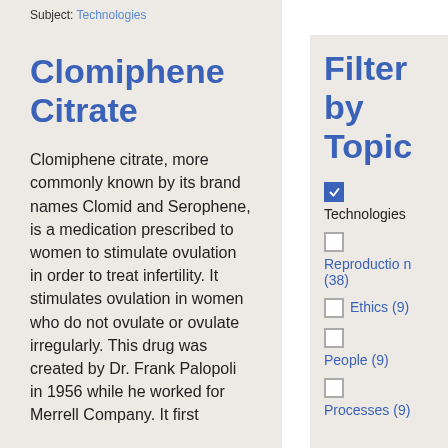Subject: Technologies
Clomiphene Citrate
Clomiphene citrate, more commonly known by its brand names Clomid and Serophene, is a medication prescribed to women to stimulate ovulation in order to treat infertility. It stimulates ovulation in women who do not ovulate or ovulate irregularly. This drug was created by Dr. Frank Palopoli in 1956 while he worked for Merrell Company. It first
Filter by Topic
Technologies (checked)
Reproduction (38)
Ethics (9)
People (9)
Processes (9)